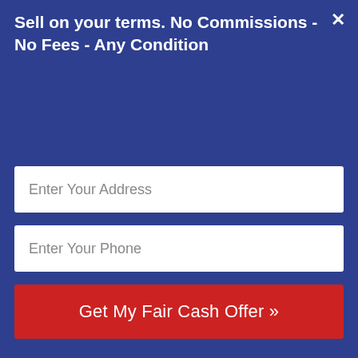Sell on your terms. No Commissions - No Fees - Any Condition
Enter Your Address
Enter Your Phone
Get My Fair Cash Offer »
[Figure (logo): 2nd Chance Investment Group logo with house roofline in blue and red above the text '2nd CHANCE INVESTMENT GROUP']
We Buy Houses In Any Condition – No Contingencies!
Menu ▾